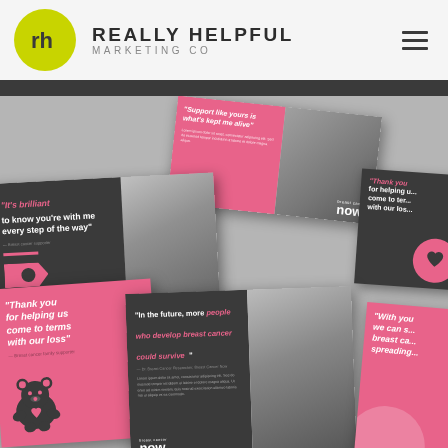[Figure (logo): Really Helpful Marketing Co logo: yellow-green circle with 'rh' monogram in dark grey, beside bold uppercase text 'REALLY HELPFUL MARKETING CO']
[Figure (photo): Collage of Breast Cancer Now charity marketing materials including multiple cards/brochures with quotes: 'Support like yours is what's kept me alive', 'It's brilliant to know you're with me every step of the way', 'Thank you for helping us come to terms with our loss', 'In the future, more people who develop breast cancer could survive', 'With you we can stop breast cancer spreading'. Cards feature pink and dark grey colour scheme with photos of people.]